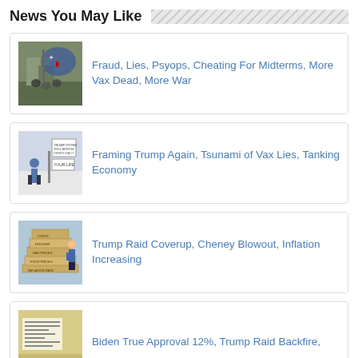News You May Like
Fraud, Lies, Psyops, Cheating For Midterms, More Vax Dead, More War
Framing Trump Again, Tsunami of Vax Lies, Tanking Economy
Trump Raid Coverup, Cheney Blowout, Inflation Increasing
Biden True Approval 12%, Trump Raid Backfire,